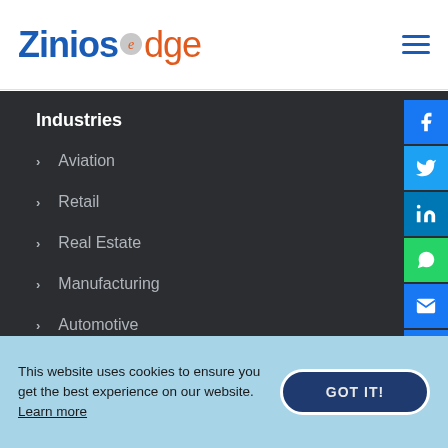Zinios edge
Industries
Aviation
Retail
Real Estate
Manufacturing
Automotive
Healthcare
This website uses cookies to ensure you get the best experience on our website. Learn more